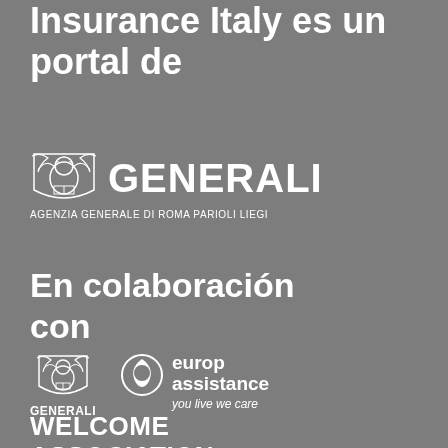Insurance Italy es un portal de
[Figure (logo): Generali logo with lion emblem and text 'GENERALI' and subtitle 'AGENZIA GENERALE DI ROMA PARIOLI LIEGI']
En colaboración con
[Figure (logo): Generali small logo with lion and text 'GENERALI' below]
[Figure (logo): Europ Assistance logo with circular icon and text 'europ assistance you live we care']
WELCOME ASSOCIATION